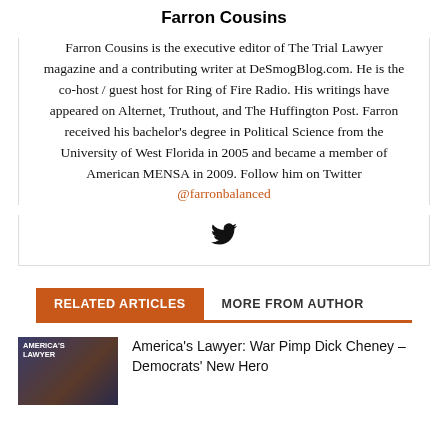Farron Cousins
Farron Cousins is the executive editor of The Trial Lawyer magazine and a contributing writer at DeSmogBlog.com. He is the co-host / guest host for Ring of Fire Radio. His writings have appeared on Alternet, Truthout, and The Huffington Post. Farron received his bachelor's degree in Political Science from the University of West Florida in 2005 and became a member of American MENSA in 2009. Follow him on Twitter @farronbalanced
[Figure (illustration): Twitter bird icon]
RELATED ARTICLES | MORE FROM AUTHOR
America's Lawyer: War Pimp Dick Cheney – Democrats' New Hero